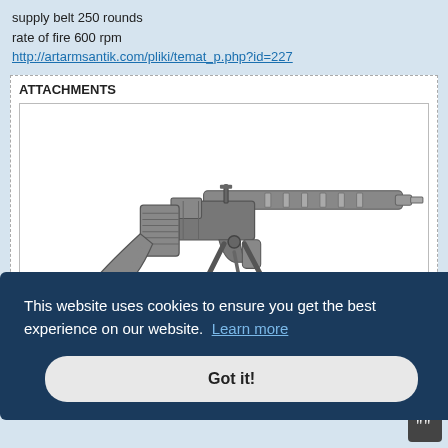supply belt 250 rounds
rate of fire 600 rpm
http://artarmsantik.com/pliki/temat_p.php?id=227
ATTACHMENTS
[Figure (photo): Black and white photograph of a machine gun mounted on a tripod/bipod, shown from the side]
This website uses cookies to ensure you get the best experience on our website. Learn more
Got it!